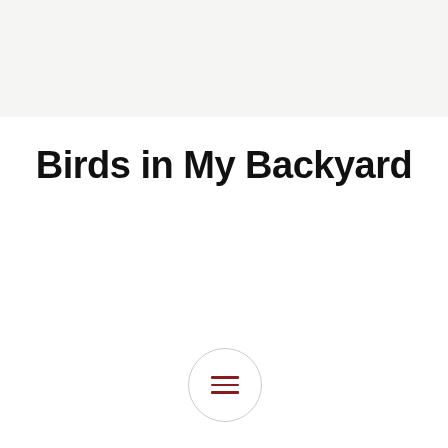[Figure (photo): Light grey/beige rectangular hero image placeholder at top of page]
Birds in My Backyard
[Figure (other): Circular menu button with three horizontal dark red lines (hamburger menu icon), outlined by a thin grey circle]